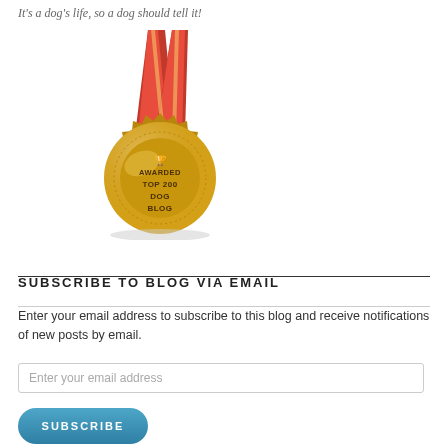It's a dog's life, so a dog should tell it!
[Figure (illustration): Gold medal award with red and gold ribbon, text reading 'AWARDED TOP 200 DOG BLOG' with a trophy icon]
SUBSCRIBE TO BLOG VIA EMAIL
Enter your email address to subscribe to this blog and receive notifications of new posts by email.
Enter your email address
SUBSCRIBE